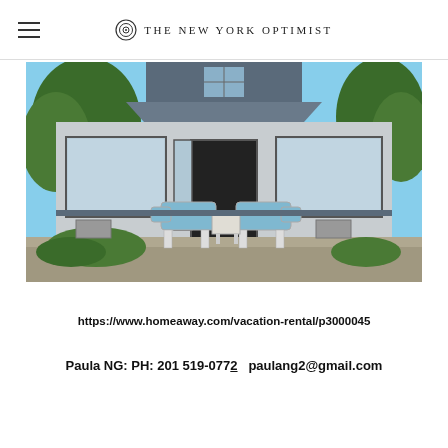THE NEW YORK OPTIMIST
[Figure (photo): Exterior photo of a vacation rental house with large windows and two blue lounge chairs with a small table on a patio in front of the house.]
https://www.homeaway.com/vacation-rental/p3000045
Paula NG: PH: 201 519-0772   paulang2@gmail.com